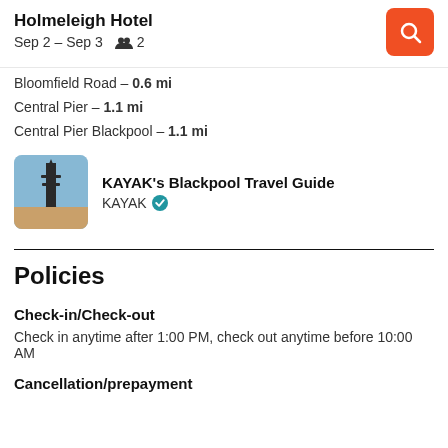Holmeleigh Hotel | Sep 2 – Sep 3 | 2 guests
Bloomfield Road – 0.6 mi
Central Pier – 1.1 mi
Central Pier Blackpool – 1.1 mi
[Figure (photo): Photo of Blackpool Tower against blue sky]
KAYAK's Blackpool Travel Guide
KAYAK (verified)
Policies
Check-in/Check-out
Check in anytime after 1:00 PM, check out anytime before 10:00 AM
Cancellation/prepayment